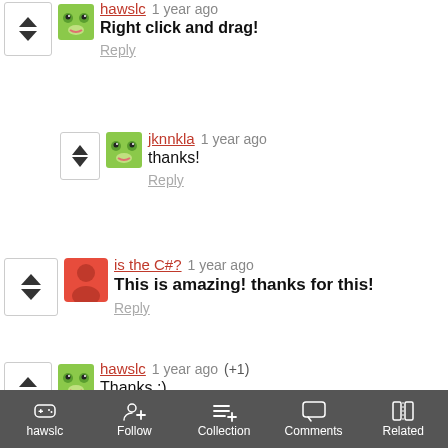hawslc  1 year ago
Right click and drag!
Reply
jknnkla  1 year ago
thanks!
Reply
is the C#?  1 year ago
This is amazing! thanks for this!
Reply
hawslc  1 year ago  (+1)
Thanks :)
Reply
hawslc  Follow  Collection  Comments  Related